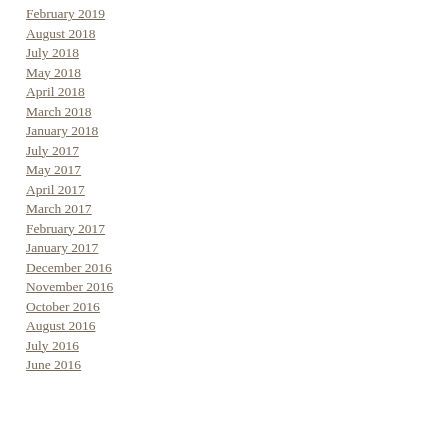February 2019
August 2018
July 2018
May 2018
April 2018
March 2018
January 2018
July 2017
May 2017
April 2017
March 2017
February 2017
January 2017
December 2016
November 2016
October 2016
August 2016
July 2016
June 2016